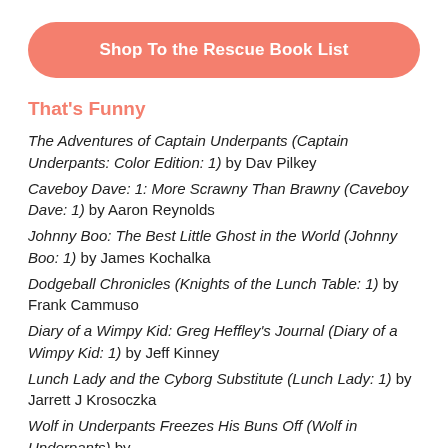Shop To the Rescue Book List
That's Funny
The Adventures of Captain Underpants (Captain Underpants: Color Edition: 1) by Dav Pilkey
Caveboy Dave: 1: More Scrawny Than Brawny (Caveboy Dave: 1) by Aaron Reynolds
Johnny Boo: The Best Little Ghost in the World (Johnny Boo: 1) by James Kochalka
Dodgeball Chronicles (Knights of the Lunch Table: 1) by Frank Cammuso
Diary of a Wimpy Kid: Greg Heffley's Journal (Diary of a Wimpy Kid: 1) by Jeff Kinney
Lunch Lady and the Cyborg Substitute (Lunch Lady: 1) by Jarrett J Krosoczka
Wolf in Underpants Freezes His Buns Off (Wolf in Underpants) by